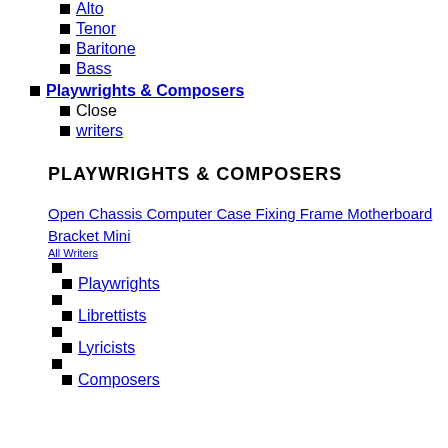Alto
Tenor
Baritone
Bass
Playwrights & Composers
Close
writers
PLAYWRIGHTS & COMPOSERS
Open Chassis Computer Case Fixing Frame Motherboard Bracket Mini
All Writers
Playwrights
Librettists
Lyricists
Composers